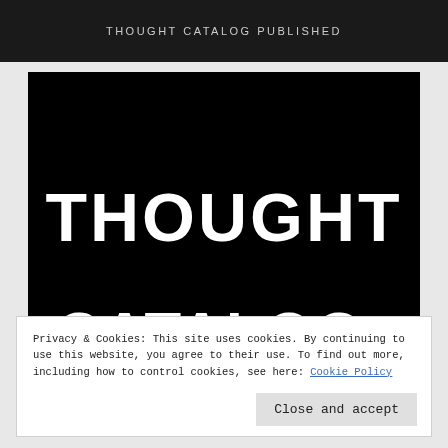THOUGHT CATALOG PUBLISHED
[Figure (logo): Thought Catalog logo: black background with large white bold text reading THOUGHT on top and CATALOG® below]
Privacy & Cookies: This site uses cookies. By continuing to use this website, you agree to their use. To find out more, including how to control cookies, see here: Cookie Policy
Close and accept